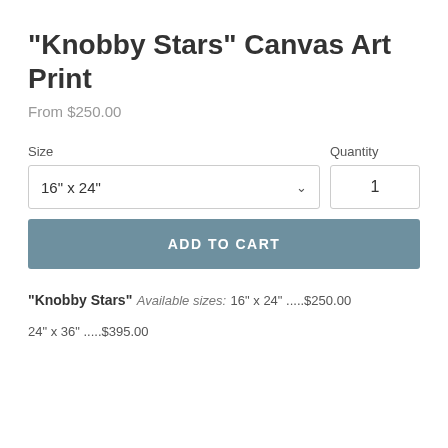"Knobby Stars" Canvas Art Print
From $250.00
Size
16" x 24"
Quantity
1
ADD TO CART
"Knobby Stars"
Available sizes:
16" x 24" .....$250.00
24" x 36" .....$395.00